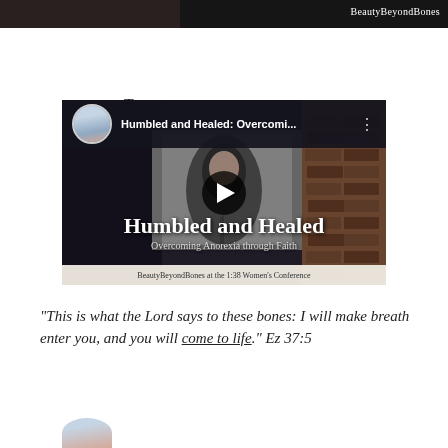[Figure (screenshot): Top dark image strip with BeautyBeyondBones watermark text in white on dark background]
To hear my story, click here.
[Figure (screenshot): YouTube video thumbnail showing a woman speaking at a podium, titled 'Humbled and Healed: Overcoming Anorexia through Faith' with BeautyBeyondBones at the 1:38 Women's Conference caption at the bottom]
"This is what the Lord says to these bones: I will make breath enter you, and you will come to life." Ez 37:5